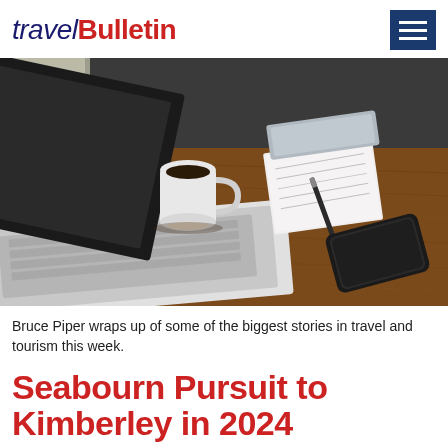travelBulletin
[Figure (photo): Overhead view of a wooden desk with a laptop, coffee mug, notepad with pen, and smartphone]
Bruce Piper wraps up of some of the biggest stories in travel and tourism this week.
Seabourn Pursuit to Kimberley in 2024